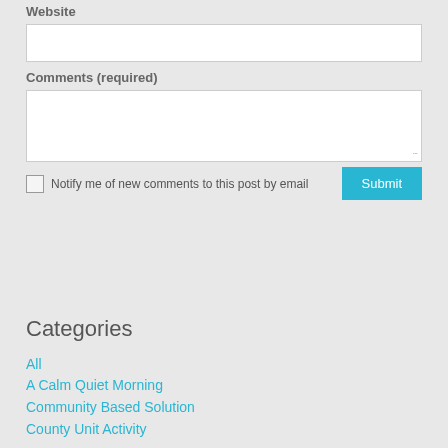Website
Comments (required)
Notify me of new comments to this post by email
Categories
All
A Calm Quiet Morning
Community Based Solution
County Unit Activity